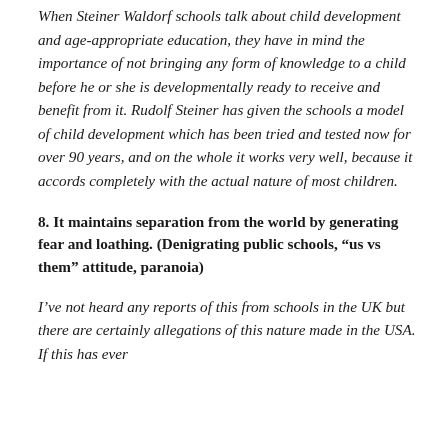When Steiner Waldorf schools talk about child development and age-appropriate education, they have in mind the importance of not bringing any form of knowledge to a child before he or she is developmentally ready to receive and benefit from it. Rudolf Steiner has given the schools a model of child development which has been tried and tested now for over 90 years, and on the whole it works very well, because it accords completely with the actual nature of most children.
8. It maintains separation from the world by generating fear and loathing. (Denigrating public schools, “us vs them” attitude, paranoia)
I’ve not heard any reports of this from schools in the UK but there are certainly allegations of this nature made in the USA. If this has ever